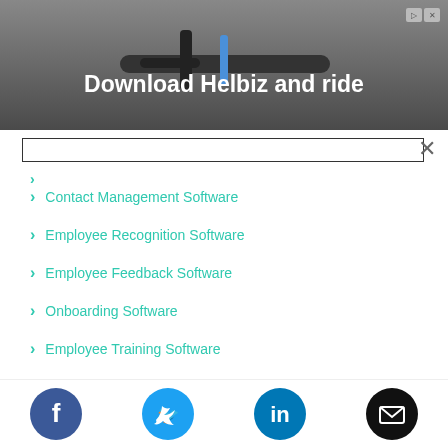[Figure (screenshot): Advertisement banner: 'Download Helbiz and ride' with scooter handlebar image and ad icons]
Contact Management Software
Employee Recognition Software
Employee Feedback Software
Onboarding Software
Employee Training Software
[Figure (screenshot): Social media sharing footer with Facebook, Twitter, LinkedIn, and Email icons]